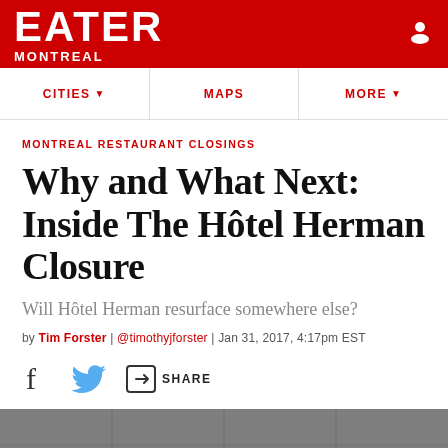EATER MONTREAL
MONTREAL RESTAURANT CLOSINGS
Why and What Next: Inside The Hôtel Herman Closure
Will Hôtel Herman resurface somewhere else?
by Tim Forster | @timothyjforster | Jan 31, 2017, 4:17pm EST
[Figure (infographic): Social share bar with Facebook icon, Twitter bird icon, and share/arrow icon with SHARE label]
[Figure (photo): Black and white photo of interior ceiling of Hôtel Herman restaurant]